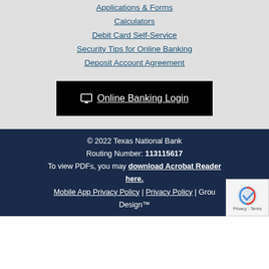Applications & Forms
Calculators
Debit Card Self-Service
Security Tips for Online Banking
Deposit Account Agreement
[Figure (other): Black button with monitor icon and text 'Online Banking Login']
© 2022 Texas National Bank
Routing Number: 113115617
To view PDFs, you may download Acrobat Reader here.
Mobile App Privacy Policy | Privacy Policy | Group Design™